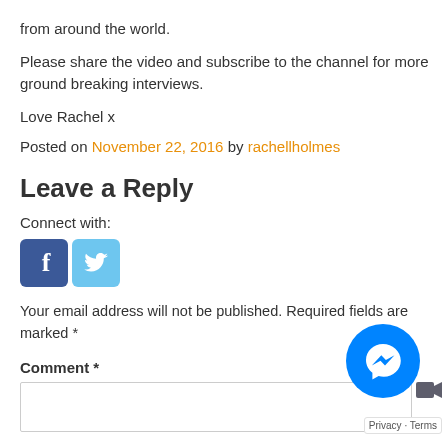from around the world.
Please share the video and subscribe to the channel for more ground breaking interviews.
Love Rachel x
Posted on November 22, 2016 by rachellholmes
Leave a Reply
Connect with:
[Figure (other): Facebook and Twitter social login buttons]
Your email address will not be published. Required fields are marked *
Comment *
[Figure (other): Facebook Messenger chat bubble widget with Privacy · Terms label]